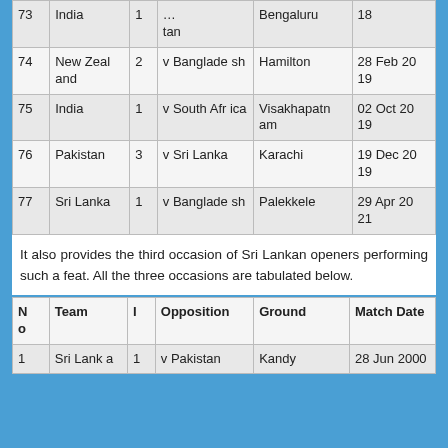| No | Team | I | Opposition | Ground | Match Date |
| --- | --- | --- | --- | --- | --- |
| 73 | India | 1 | [...] tan | Bengaluru | 18 |
| 74 | New Zealand | 2 | v Bangladesh | Hamilton | 28 Feb 2019 |
| 75 | India | 1 | v South Africa | Visakhapatnam | 02 Oct 2019 |
| 76 | Pakistan | 3 | v Sri Lanka | Karachi | 19 Dec 2019 |
| 77 | Sri Lanka | 1 | v Bangladesh | Palekkele | 29 Apr 2021 |
It also provides the third occasion of Sri Lankan openers performing such a feat. All the three occasions are tabulated below.
| No | Team | I | Opposition | Ground | Match Date |
| --- | --- | --- | --- | --- | --- |
| 1 | Sri Lank a | 1 | v Pakistan | Kandy | 28 Jun 2000 |